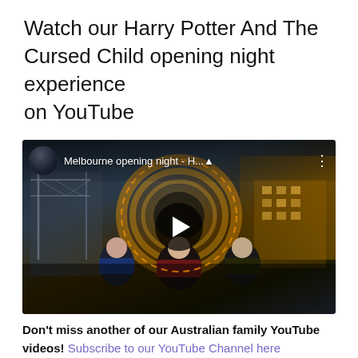Watch our Harry Potter And The Cursed Child opening night experience on YouTube
[Figure (screenshot): YouTube video thumbnail showing three women posing in front of a large illuminated clock structure at the Melbourne Harry Potter And The Cursed Child opening night event. The video title shows 'Melbourne opening night - H...' with a YouTube avatar and menu icon in the top bar, and a play button in the center.]
Don't miss another of our Australian family YouTube videos! Subscribe to our YouTube Channel here